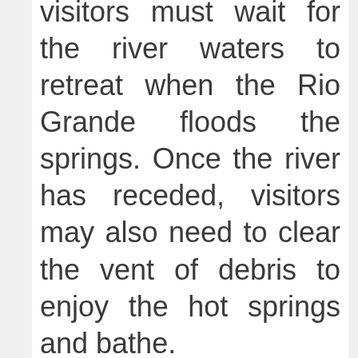visitors must wait for the river waters to retreat when the Rio Grande floods the springs. Once the river has receded, visitors may also need to clear the vent of debris to enjoy the hot springs and bathe.
Swimming is not recommended since the adjacent river currents are unpredictable.
The springs are not accessible by car. Camping in the area is not possible but campersites are...